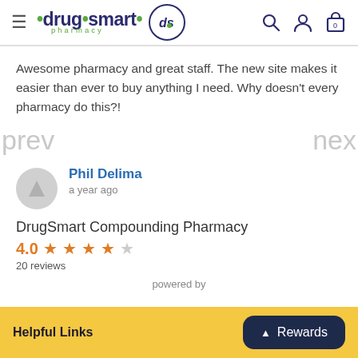[Figure (screenshot): Drug Smart Pharmacy website header with logo, navigation hamburger menu, search icon, account icon, and shopping bag icon showing 0 items]
Awesome pharmacy and great staff. The new site makes it easier than ever to buy anything I need. Why doesn't every pharmacy do this?!
prev
nex
Phil Delima
a year ago
DrugSmart Compounding Pharmacy
4.0
20 reviews
powered by
Helpful Links
Rewards